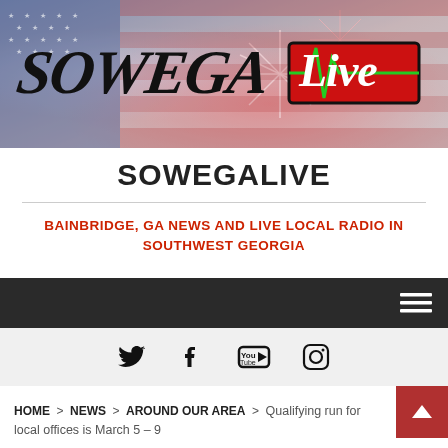[Figure (screenshot): SOWEGA Live website banner with fireworks and American flag background, featuring the SOWEGA Live logo in stylized text]
SOWEGALIVE
BAINBRIDGE, GA NEWS AND LIVE LOCAL RADIO IN SOUTHWEST GEORGIA
[Figure (screenshot): Dark navigation bar with hamburger menu icon on the right]
[Figure (screenshot): Social media icons bar with Twitter, Facebook, YouTube, and Instagram icons]
HOME > NEWS > AROUND OUR AREA > Qualifying run for local offices is March 5 – 9